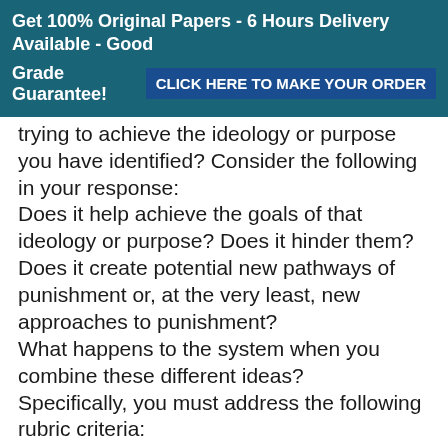Get 100% Original Papers - 6 Hours Delivery Available - Good Grade Guarantee! CLICK HERE TO MAKE YOUR ORDER
trying to achieve the ideology or purpose you have identified? Consider the following in your response:
Does it help achieve the goals of that ideology or purpose? Does it hinder them? Does it create potential new pathways of punishment or, at the very least, new approaches to punishment?
What happens to the system when you combine these different ideas?
Specifically, you must address the following rubric criteria:
Identify key ideologies or purposes of punishment.
Choose a sentencing structure for each